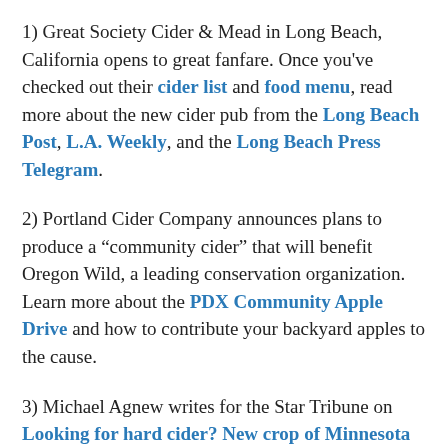1) Great Society Cider & Mead in Long Beach, California opens to great fanfare. Once you've checked out their cider list and food menu, read more about the new cider pub from the Long Beach Post, L.A. Weekly, and the Long Beach Press Telegram.
2) Portland Cider Company announces plans to produce a “community cider” that will benefit Oregon Wild, a leading conservation organization. Learn more about the PDX Community Apple Drive and how to contribute your backyard apples to the cause.
3) Michael Agnew writes for the Star Tribune on Looking for hard cider? New crop of Minnesota flavors reaches market